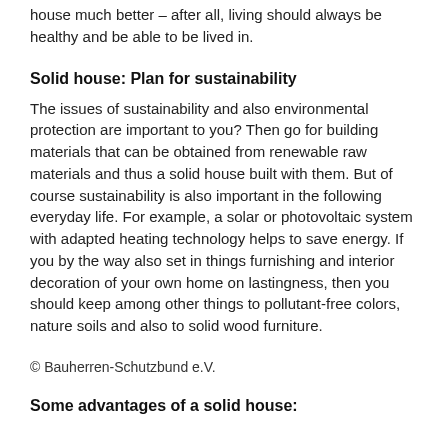house much better – after all, living should always be healthy and be able to be lived in.
Solid house: Plan for sustainability
The issues of sustainability and also environmental protection are important to you? Then go for building materials that can be obtained from renewable raw materials and thus a solid house built with them. But of course sustainability is also important in the following everyday life. For example, a solar or photovoltaic system with adapted heating technology helps to save energy. If you by the way also set in things furnishing and interior decoration of your own home on lastingness, then you should keep among other things to pollutant-free colors, nature soils and also to solid wood furniture.
© Bauherren-Schutzbund e.V.
Some advantages of a solid house: